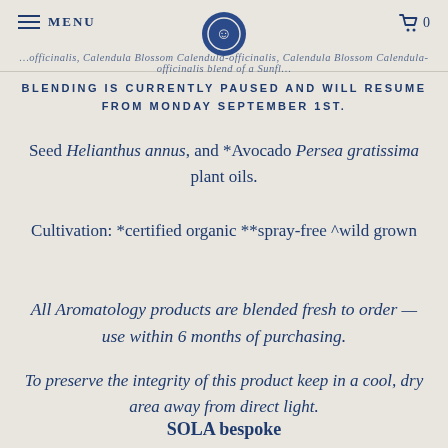MENU | [logo] | 0
BLENDING IS CURRENTLY PAUSED AND WILL RESUME FROM MONDAY SEPTEMBER 1ST.
Seed Helianthus annus, and *Avocado Persea gratissima plant oils.
Cultivation: *certified organic **spray-free ^wild grown
All Aromatology products are blended fresh to order — use within 6 months of purchasing.
To preserve the integrity of this product keep in a cool, dry area away from direct light.
SOLA bespoke